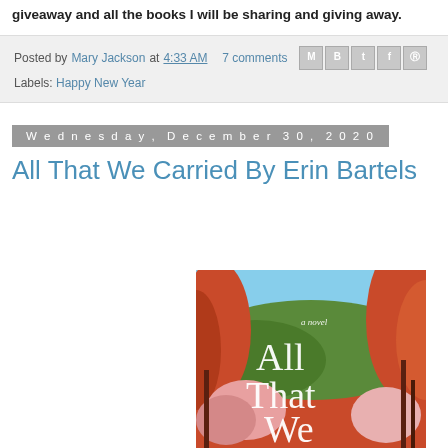giveaway and all the books I will be sharing and giving away.
Posted by Mary Jackson at 4:33 AM   7 comments
Labels: Happy New Year
Wednesday, December 30, 2020
All That We Carried By Erin Bartels
[Figure (illustration): Book cover of 'All That We Carried' by Erin Bartels, showing illustrated autumn forest scene with red and orange trees, green hills, and blue sky with text 'a novel' and large white serif title 'All That We']